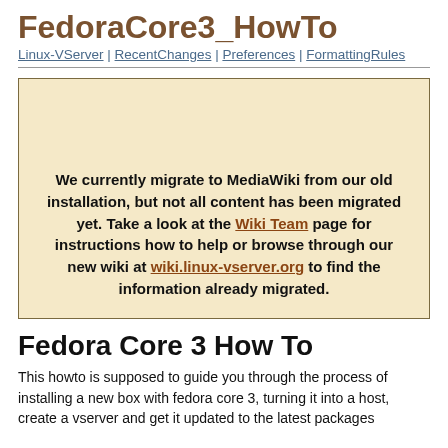FedoraCore3_HowTo | Linux-VServer | RecentChanges | Preferences | FormattingRules
We currently migrate to MediaWiki from our old installation, but not all content has been migrated yet. Take a look at the Wiki Team page for instructions how to help or browse through our new wiki at wiki.linux-vserver.org to find the information already migrated.
Fedora Core 3 How To
This howto is supposed to guide you through the process of installing a new box with fedora core 3, turning it into a host, create a vserver and get it updated to the latest packages